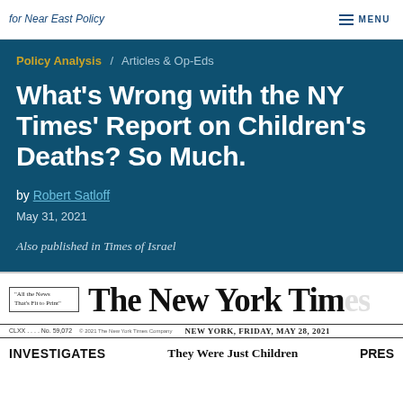for Near East Policy / MENU
Policy Analysis / Articles & Op-Eds
What’s Wrong with the NY Times’ Report on Children’s Deaths? So Much.
by Robert Satloff
May 31, 2021
Also published in Times of Israel
[Figure (screenshot): New York Times front page header showing masthead with 'The New York Times' logo, motto 'All the News That's Fit to Print', date NEW YORK, FRIDAY, MAY 28, 2021, Vol. CLXX No. 59,072, and partial headline 'They Were Just Children']